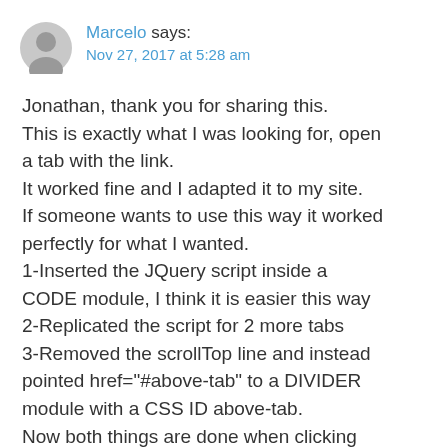Marcelo says: Nov 27, 2017 at 5:28 am
Jonathan, thank you for sharing this. This is exactly what I was looking for, open a tab with the link. It worked fine and I adapted it to my site. If someone wants to use this way it worked perfectly for what I wanted. 1-Inserted the JQuery script inside a CODE module, I think it is easier this way 2-Replicated the script for 2 more tabs 3-Removed the scrollTop line and instead pointed href="#above-tab" to a DIVIDER module with a CSS ID above-tab. Now both things are done when clicking